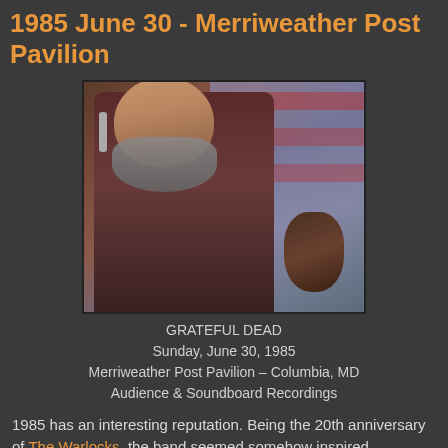1985 June 30 - Merriweather Post Pavilion
[Figure (photo): Photograph of Jerry Garcia of the Grateful Dead singing into a microphone and playing guitar, with an American flag blurred in the background]
GRATEFUL DEAD
Sunday, June 30, 1985
Merriweather Post Pavilion – Columbia, MD
Audience & Soundboard Recordings
1985 has an interesting reputation. Being the 20th anniversary of The Warlocks, the band seemed somehow inspired throughout the year, elevating their game with such